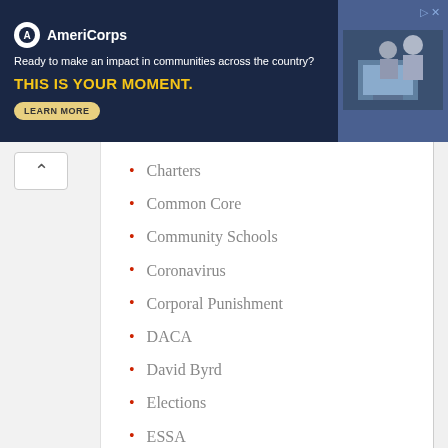[Figure (screenshot): AmeriCorps advertisement banner: dark navy background with AmeriCorps logo, tagline 'Ready to make an impact in communities across the country?', headline 'THIS IS YOUR MOMENT.' in yellow, and a 'LEARN MORE' button. Right side shows people at computers.]
Charters
Common Core
Community Schools
Coronavirus
Corporal Punishment
DACA
David Byrd
Elections
ESSA
For-Profit Schools